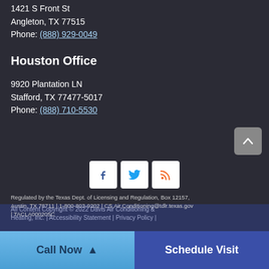1421 S Front St
Angleton, TX 77515
Phone: (888) 929-0049
Houston Office
9920 Plantation LN
Stafford, TX 77477-5017
Phone: (888) 710-5530
[Figure (illustration): Social media icons: Facebook, Twitter, RSS feed]
Regulated by the Texas Dept. of Licensing and Regulation, Box 12157, Austin, TX 78711 | 1-800-803-9202 | CS.Air.Conditioning@tdlr.texas.gov | TACLA000205C
All Content Copyright © 2022 Davis Air Conditioning & Heating, Inc. | Accessibility Statement | Privacy Policy |
Call Now ▲
Schedule Visit